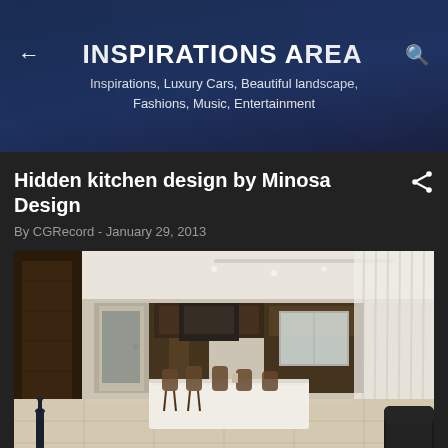INSPIRATIONS AREA
Inspirations, Luxury Cars, Beautiful landscape, Fashions, Music, Entertainment
Hidden kitchen design by Minosa Design
By CGRecord - January 29, 2013
[Figure (photo): Interior photo of a modern open-plan kitchen and living area with dark wood cabinetry, a marble island with wooden chairs, sheer white curtains, light stone flooring, a dark leather sofa in the foreground, and recessed ceiling lighting.]